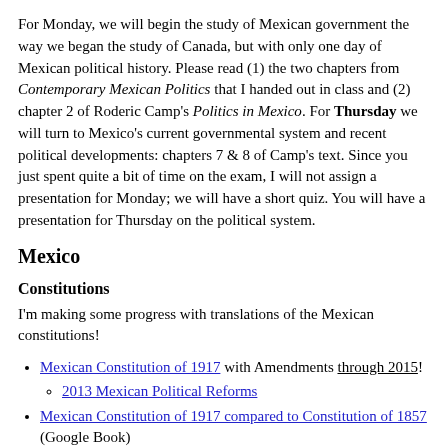For Monday, we will begin the study of Mexican government the way we began the study of Canada, but with only one day of Mexican political history. Please read (1) the two chapters from Contemporary Mexican Politics that I handed out in class and (2) chapter 2 of Roderic Camp's Politics in Mexico. For Thursday we will turn to Mexico's current governmental system and recent political developments: chapters 7 & 8 of Camp's text. Since you just spent quite a bit of time on the exam, I will not assign a presentation for Monday; we will have a short quiz. You will have a presentation for Thursday on the political system.
Mexico
Constitutions
I'm making some progress with translations of the Mexican constitutions!
Mexican Constitution of 1917 with Amendments through 2015!
2013 Mexican Political Reforms
Mexican Constitution of 1917 compared to Constitution of 1857 (Google Book)
Mexican Constitution of 1824